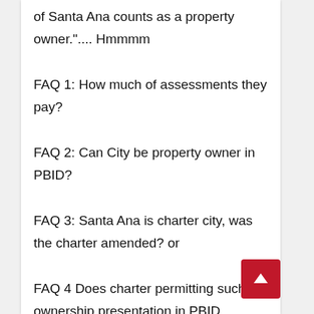of Santa Ana counts as a property owner.".... Hmmmm
FAQ 1: How much of assessments they pay?
FAQ 2: Can City be property owner in PBID?
FAQ 3: Santa Ana is charter city, was the charter amended? or
FAQ 4 Does charter permitting such ownership presentation in PBID.
I bet there is a flow